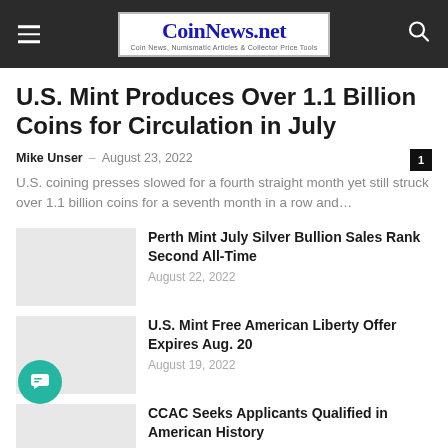CoinNews.net — Coin News, Numismatic Articles & Collector Price Tools
U.S. Mint Produces Over 1.1 Billion Coins for Circulation in July
Mike Unser – August 23, 2022
U.S. coining presses slowed for a fourth straight month yet still struck over 1.1 billion coins for a seventh month in a row and...
Perth Mint July Silver Bullion Sales Rank Second All-Time
August 22, 2022
U.S. Mint Free American Liberty Offer Expires Aug. 20
August 19, 2022
CCAC Seeks Applicants Qualified in American History